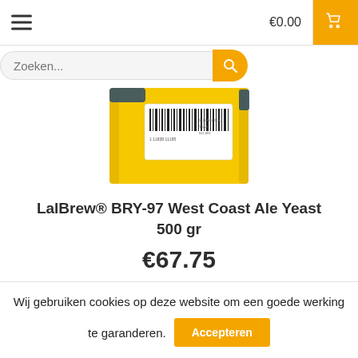[Figure (screenshot): Navigation bar with hamburger menu icon, price €0.00, and cart button in orange]
[Figure (screenshot): Search bar input field with orange search button]
[Figure (photo): Yellow product package of LalBrew BRY-97 West Coast Ale Yeast 500gr with barcode label]
LalBrew® BRY-97 West Coast Ale Yeast 500 gr
€67.75
Bestel nu
Wij gebruiken cookies op deze website om een goede werking te garanderen.
Accepteren